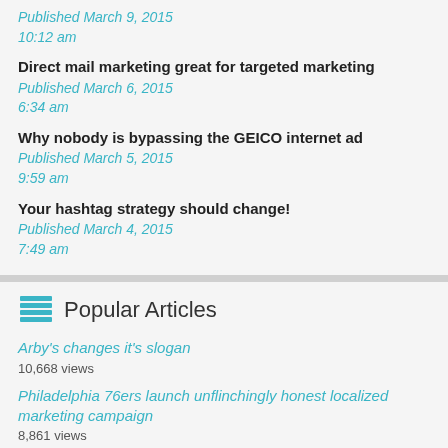Published March 9, 2015
10:12 am
Direct mail marketing great for targeted marketing
Published March 6, 2015
6:34 am
Why nobody is bypassing the GEICO internet ad
Published March 5, 2015
9:59 am
Your hashtag strategy should change!
Published March 4, 2015
7:49 am
Popular Articles
Arby's changes it's slogan
10,668 views
Philadelphia 76ers launch unflinchingly honest localized marketing campaign
8,861 views
Kermit teams up with Lipton
7,862 views